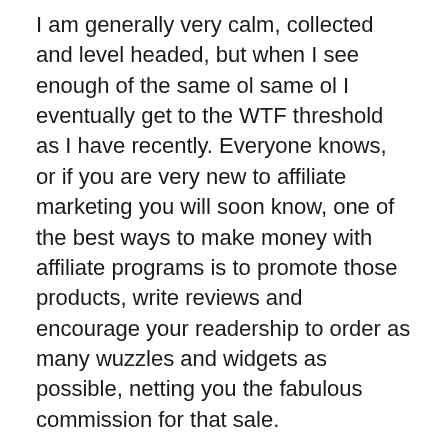I am generally very calm, collected and level headed, but when I see enough of the same ol same ol I eventually get to the WTF threshold as I have recently. Everyone knows, or if you are very new to affiliate marketing you will soon know, one of the best ways to make money with affiliate programs is to promote those products, write reviews and encourage your readership to order as many wuzzles and widgets as possible, netting you the fabulous commission for that sale.
Recently I have been scanning my usual run of sites that I choose to read regularly and I've about had enough. Seeing someone promote something with an almost unaltered copy of the promotional materials as supplied by the original author, seeing the same images, the same words and often times the same witty, semi-informative “review” of these